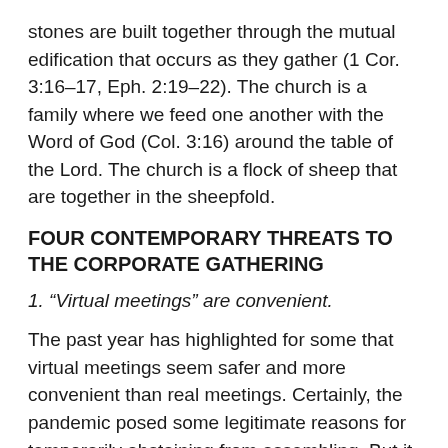stones are built together through the mutual edification that occurs as they gather (1 Cor. 3:16–17, Eph. 2:19–22). The church is a family where we feed one another with the Word of God (Col. 3:16) around the table of the Lord. The church is a flock of sheep that are together in the sheepfold.
FOUR CONTEMPORARY THREATS TO THE CORPORATE GATHERING
1. “Virtual meetings” are convenient.
The past year has highlighted for some that virtual meetings seem safer and more convenient than real meetings. Certainly, the pandemic posed some legitimate reasons for temporarily abstaining from assembling. But it should never set an enduring precedent.